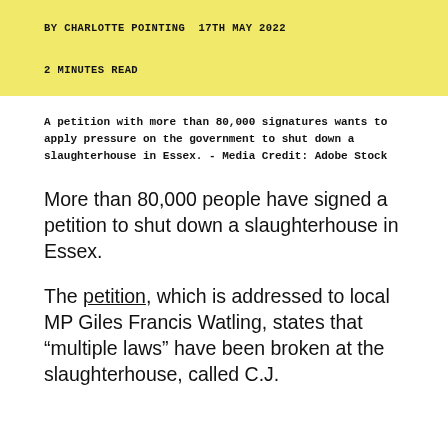BY CHARLOTTE POINTING  17TH MAY 2022
2 MINUTES READ
A petition with more than 80,000 signatures wants to apply pressure on the government to shut down a slaughterhouse in Essex. - Media Credit: Adobe Stock
More than 80,000 people have signed a petition to shut down a slaughterhouse in Essex.
The petition, which is addressed to local MP Giles Francis Watling, states that "multiple laws" have been broken at the slaughterhouse, called C.J.